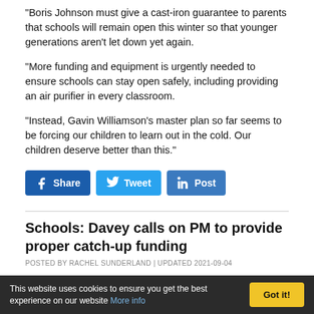“Boris Johnson must give a cast-iron guarantee to parents that schools will remain open this winter so that younger generations aren’t let down yet again.
“More funding and equipment is urgently needed to ensure schools can stay open safely, including providing an air purifier in every classroom.
“Instead, Gavin Williamson’s master plan so far seems to be forcing our children to learn out in the cold. Our children deserve better than this.”
[Figure (other): Social sharing buttons: Facebook Share, Twitter Tweet, LinkedIn Post]
Schools: Davey calls on PM to provide proper catch-up funding
POSTED BY RACHEL SUNDERLAND | UPDATED 2021-09-04
This website uses cookies to ensure you get the best experience on our website More info